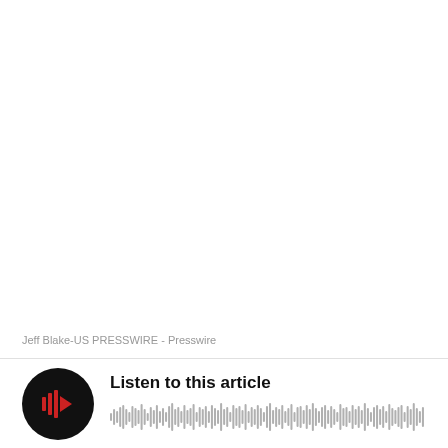Jeff Blake-US PRESSWIRE - Presswire
[Figure (other): Audio player widget with black circular play button containing red audio icon and waveform visualization, with text 'Listen to this article']